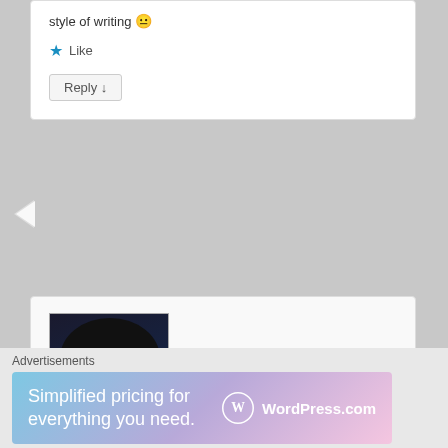style of writing 😐
Like
Reply ↓
[Figure (photo): Profile photo of a woman with dark hair]
Ritu KT on 2012-12-13 at 06:54
said:
What a wonderful post!
Like
Advertisements
[Figure (infographic): WordPress.com advertisement banner: Simplified pricing for everything you need.]